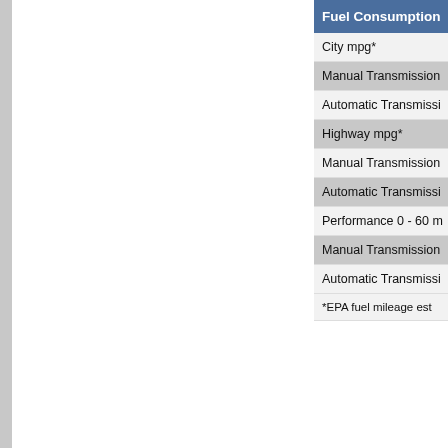| Fuel Consumption |
| --- |
| City mpg* |
| Manual Transmission |
| Automatic Transmission |
| Highway mpg* |
| Manual Transmission |
| Automatic Transmission |
| Performance 0 - 60 m |
| Manual Transmission |
| Automatic Transmission |
| *EPA fuel mileage est |
Get a Price Quote on a 2003 Volksw
Although New-Cars.com checks with auto manufacturers and their represent expressed or implied with respect to the data presented here. All specificatio
Copyright C